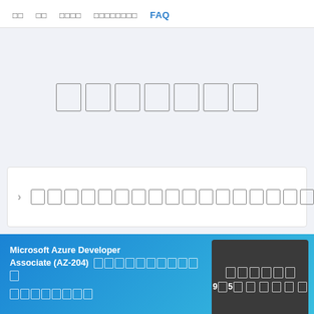□□  □□  □□□□  □□□□□□□□  FAQ
[Figure (screenshot): Light gray content area with seven placeholder boxes arranged horizontally in the center]
□□□□□□□□□□□□□□□□□□□□□□□□□
Microsoft Azure Developer Associate (AZ-204) □□□□□□□□□□□  □□□□□□□□
□□□□□□  9□5□ □□□□□